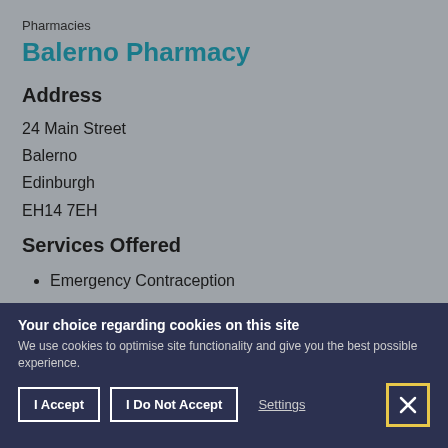Pharmacies
Balerno Pharmacy
Address
24 Main Street
Balerno
Edinburgh
EH14 7EH
Services Offered
Emergency Contraception
Nicotine Replacement Therapy
Palliative Care Network
Your choice regarding cookies on this site
We use cookies to optimise site functionality and give you the best possible experience.